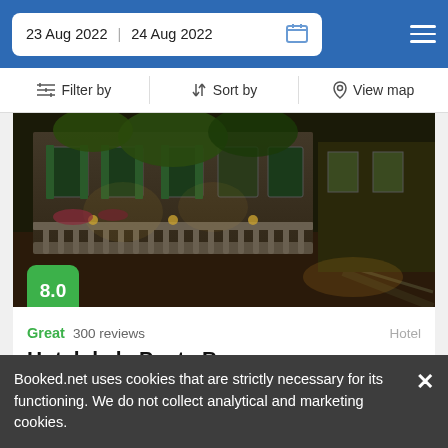23 Aug 2022  24 Aug 2022
Filter by   Sort by   View map
[Figure (photo): Night-time exterior photo of Hotel de la Poste Beaune showing illuminated stone facade with balustrade, trees, and warm lighting]
8.0
Great  300 reviews  Hotel
Hotel de la Poste Beaune
Beaune (Cote d'Or), France
★ ★ ★ ★
193$
Booked.net uses cookies that are strictly necessary for its functioning. We do not collect analytical and marketing cookies.